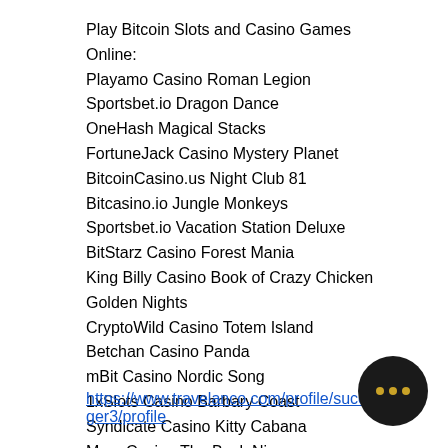Play Bitcoin Slots and Casino Games Online:
Playamo Casino Roman Legion
Sportsbet.io Dragon Dance
OneHash Magical Stacks
FortuneJack Casino Mystery Planet
BitcoinCasino.us Night Club 81
Bitcasino.io Jungle Monkeys
Sportsbet.io Vacation Station Deluxe
BitStarz Casino Forest Mania
King Billy Casino Book of Crazy Chicken Golden Nights
CryptoWild Casino Totem Island
Betchan Casino Panda
mBit Casino Nordic Song
1xSlots Casino Barbary Coast
Syndicate Casino Kitty Cabana
Mars Casino The Back Nine
https://www.travelanco.com/profile/succ...ger3/profile